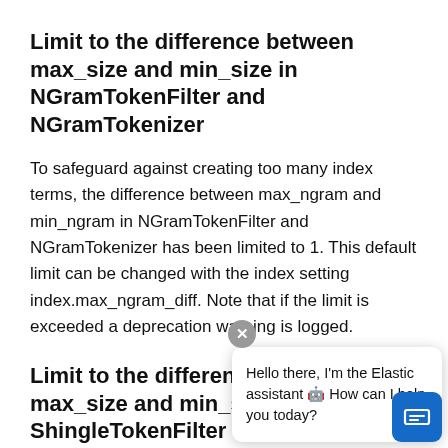Limit to the difference between max_size and min_size in NGramTokenFilter and NGramTokenizer
To safeguard against creating too many index terms, the difference between max_ngram and min_ngram in NGramTokenFilter and NGramTokenizer has been limited to 1. This default limit can be changed with the index setting index.max_ngram_diff. Note that if the limit is exceeded a deprecation warning is logged.
Limit to the difference between max_size and min_size in ShingleTokenFilter
To safeguard against creating too many tokens, the difference between max_shingle_size and min_shingle_size has been limited to 3. This default limit can be changed with the index setting index.max_shingle_diff. Note that if the limit is